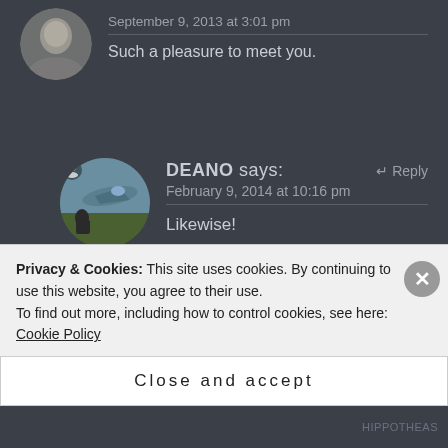[Figure (photo): Circular avatar photo of a person (greyscale/blurred), top-left corner, partially cropped]
September 9, 2013 at 3:01 pm
Such a pleasure to meet you.
[Figure (photo): Circular avatar of DEANO showing a military aircraft scene]
DEANO says:
↵ Reply
February 9, 2014 at 10:16 pm
Likewise!
Privacy & Cookies: This site uses cookies. By continuing to use this website, you agree to their use.
To find out more, including how to control cookies, see here: Cookie Policy
Close and accept